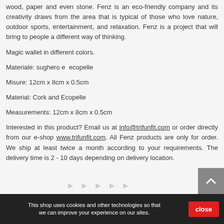wood, paper and even stone. Fenz is an eco-friendly company and its creativity draws from the area that is typical of those who love nature, outdoor sports, entertainment, and relaxation. Fenz is a project that will bring to people a different way of thinking.
Magic wallet in different colors.
Materiale: sughero e  ecopelle
Misure: 12cm x 8cm x 0.5cm
Material: Cork and Ecopelle
Measurements: 12cm x 8cm x 0.5cm
Interested in this product? Email us at info@trifunfit.com or order directly from our e-shop www.trifunfit.com. All Fenz products are only for order. We ship at least twice a month according to your requirements. The delivery time is 2 - 10 days depending on delivery location.
This shop uses cookies and other technologies so that we can improve your experience on our sites. close